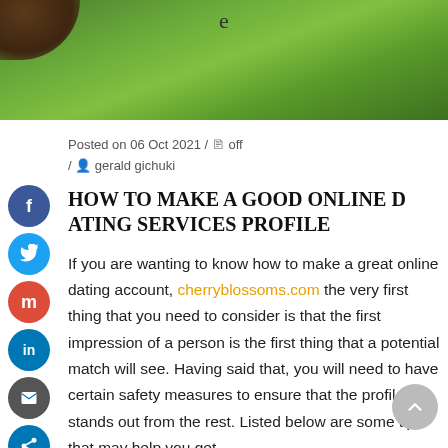[Figure (photo): Green grass lawn background with a partial dark soil/dirt patch in the upper left corner. Letter 'e' visible near the top center.]
Posted on 06 Oct 2021 / off / gerald gichuki
HOW TO MAKE A GOOD ONLINE DATING SERVICES PROFILE
If you are wanting to know how to make a great online dating account, cherryblossoms.com the very first thing that you need to consider is that the first impression of a person is the first thing that a potential match will see. Having said that, you will need to have certain safety measures to ensure that the profile stands out from the rest. Listed below are some tips that may help you get